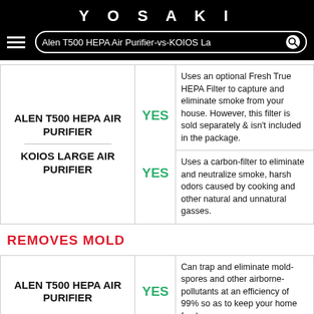YOSAKI — Alen T500 HEPA Air Purifier-vs-KOIOS La [search bar]
| Product | Yes/No | Description |
| --- | --- | --- |
| ALEN T500 HEPA AIR PURIFIER | YES | Uses an optional Fresh True HEPA Filter to capture and eliminate smoke from your house. However, this filter is sold separately & isn't included in the package. |
| KOIOS LARGE AIR PURIFIER | YES | Uses a carbon-filter to eliminate and neutralize smoke, harsh odors caused by cooking and other natural and unnatural gasses. |
REMOVES MOLD
| Product | Yes/No | Description |
| --- | --- | --- |
| ALEN T500 HEPA AIR PURIFIER | YES | Can trap and eliminate mold-spores and other airborne-pollutants at an efficiency of 99% so as to keep your home fresh. |